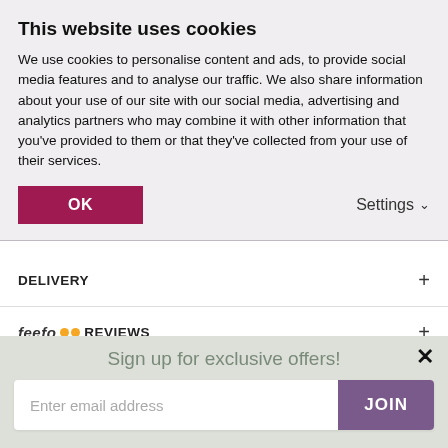This website uses cookies
We use cookies to personalise content and ads, to provide social media features and to analyse our traffic. We also share information about your use of our site with our social media, advertising and analytics partners who may combine it with other information that you've provided to them or that they've collected from your use of their services.
OK | Settings
MORE INFO
DELIVERY
feefo REVIEWS
VIDEO
Sign up for exclusive offers!
Enter email address | JOIN